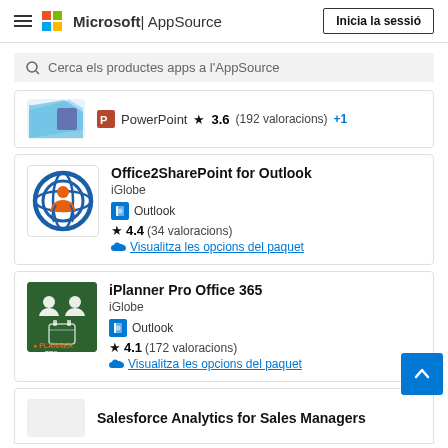Microsoft | AppSource — Inicia la sessió
Cerca els productes apps a l'AppSource
PowerPoint ★ 3.6 (192 valoracions) +1
Office2SharePoint for Outlook
iGlobe
Outlook
★ 4.4 (34 valoracions)
Visualitza les opcions del paquet
iPlanner Pro Office 365
iGlobe
Outlook
★ 4.1 (172 valoracions)
Visualitza les opcions del paquet
Salesforce Analytics for Sales Managers